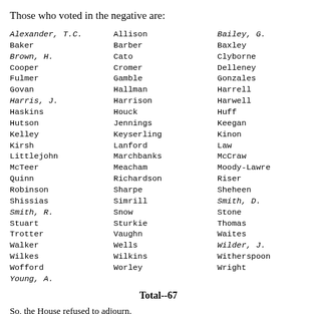Those who voted in the negative are:
Alexander, T.C.  Allison  Bailey, G.
Baker  Barber  Baxley
Brown, H.  Cato  Clyborne
Cooper  Cromer  Delleney
Fulmer  Gamble  Gonzales
Govan  Hallman  Harrell
Harris, J.  Harrison  Harwell
Haskins  Houck  Huff
Hutson  Jennings  Keegan
Kelley  Keyserling  Kinon
Kirsh  Lanford  Law
Littlejohn  Marchbanks  McCraw
McTeer  Meacham  Moody-Lawre
Quinn  Richardson  Riser
Robinson  Sharpe  Sheheen
Shissias  Simrill  Smith, D.
Smith, R.  Snow  Stone
Stuart  Sturkie  Thomas
Trotter  Vaughn  Waites
Walker  Wells  Wilder, J.
Wilkes  Wilkins  Witherspoon
Wofford  Worley  Wright
Young, A.
Total--67
So, the House refused to adjourn.